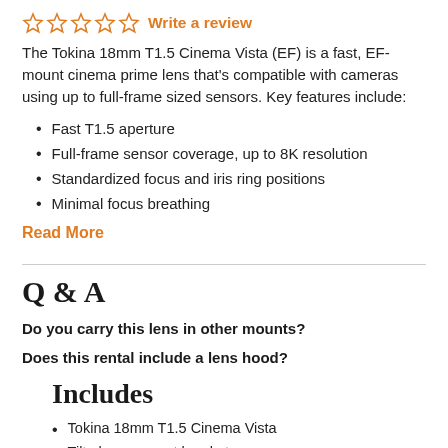[Figure (other): Five empty/outline star rating icons in orange]
Write a review
The Tokina 18mm T1.5 Cinema Vista (EF) is a fast, EF-mount cinema prime lens that's compatible with cameras using up to full-frame sized sensors. Key features include:
Fast T1.5 aperture
Full-frame sensor coverage, up to 8K resolution
Standardized focus and iris ring positions
Minimal focus breathing
Read More
Q & A
Do you carry this lens in other mounts?
Does this rental include a lens hood?
Includes
Tokina 18mm T1.5 Cinema Vista
Tilta lens support bracket